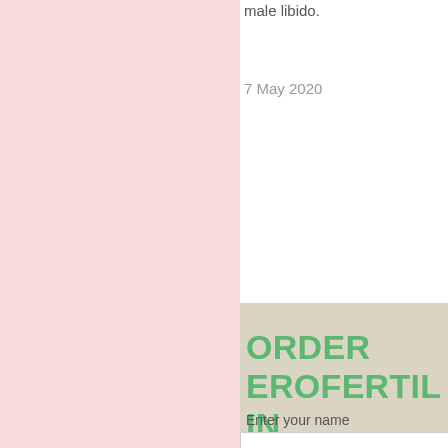male libido.
7 May 2020
aroused a erection. T understan well as tips
25 April 20
ORDER EROFERTIL IN LEIPZIG HALLE 50% EA
Enter your name